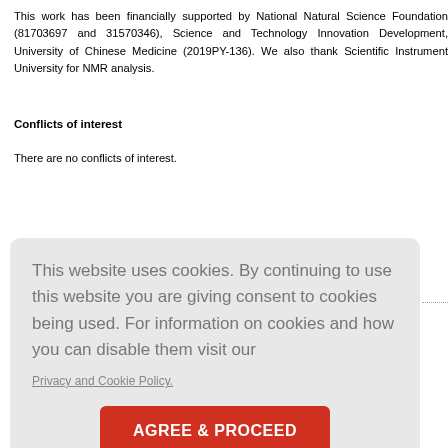This work has been financially supported by National Natural Science Foundation (81703697 and 31570346), Science and Technology Innovation Development, University of Chinese Medicine (2019PY-136). We also thank Scientific Instrument University for NMR analysis.
Conflicts of interest
There are no conflicts of interest.
This website uses cookies. By continuing to use this website you are giving consent to cookies being used. For information on cookies and how you can disable them visit our Privacy and Cookie Policy.
AGREE & PROCEED